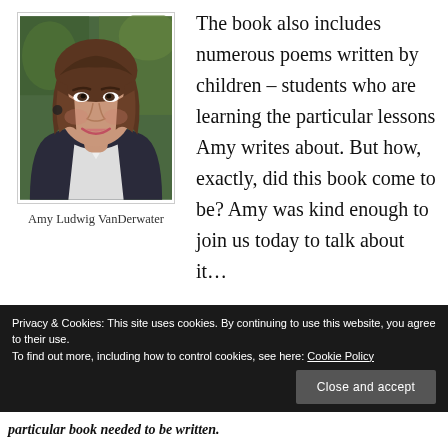[Figure (photo): Portrait photo of Amy Ludwig VanDerwater, a woman with brown shoulder-length hair, smiling, wearing dark jacket and white shirt]
Amy Ludwig VanDerwater
The book also includes numerous poems written by children – students who are learning the particular lessons Amy writes about. But how, exactly, did this book come to be? Amy was kind enough to join us today to talk about it…
Privacy & Cookies: This site uses cookies. By continuing to use this website, you agree to their use.
To find out more, including how to control cookies, see here: Cookie Policy
particular book needed to be written.